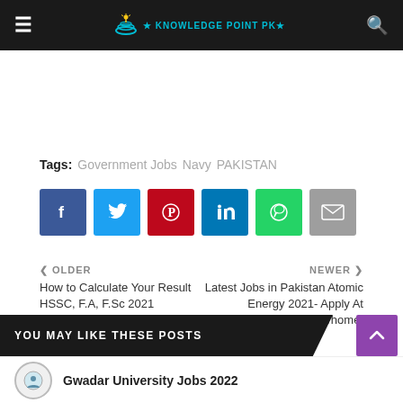Knowledge Point PK
Tags: Government Jobs  Navy  PAKISTAN
[Figure (other): Social share buttons: Facebook, Twitter, Pinterest, LinkedIn, WhatsApp, Email]
< OLDER
How to Calculate Your Result HSSC, F.A, F.Sc 2021
NEWER >
Latest Jobs in Pakistan Atomic Energy 2021- Apply At https://202.83.172.179/home/
YOU MAY LIKE THESE POSTS
Gwadar University Jobs 2022